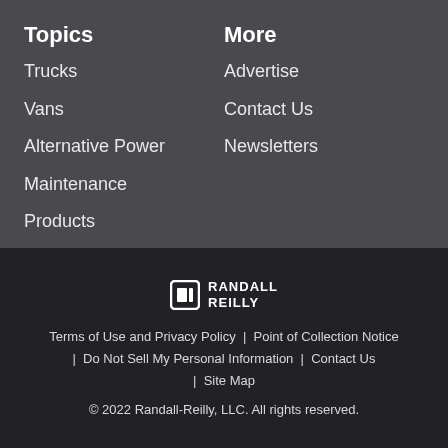Topics
Trucks
Vans
Alternative Power
Maintenance
Products
More
Advertise
Contact Us
Newsletters
[Figure (logo): Randall Reilly logo with square icon and stacked text RANDALL REILLY]
Terms of Use and Privacy Policy  |  Point of Collection Notice  |  Do Not Sell My Personal Information  |  Contact Us  |  Site Map
© 2022 Randall-Reilly, LLC. All rights reserved.